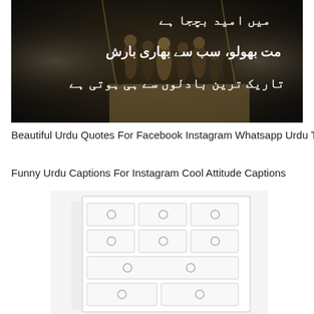[Figure (photo): Dark image showing a crowd of people (pilgrims) with Urdu text overlay in white. The text reads lines about hope, heavy rain, and dark clouds.]
Beautiful Urdu Quotes For Facebook Instagram Whatsapp Urdu Thoughts
Funny Urdu Captions For Instagram Cool Attitude Captions
[Figure (photo): White dresser with multiple drawers arranged in rows, each drawer having a circular handle. The dresser is white with light gray accents.]